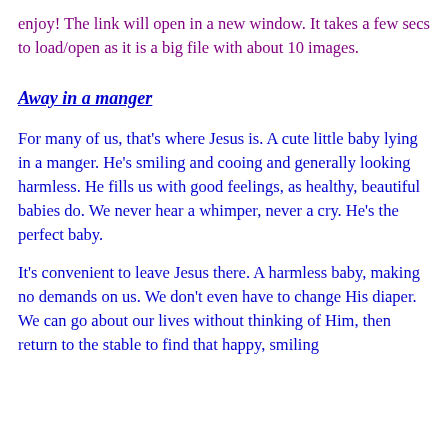enjoy! The link will open in a new window. It takes a few secs to load/open as it is a big file with about 10 images.
Away in a manger
For many of us, that's where Jesus is. A cute little baby lying in a manger. He's smiling and cooing and generally looking harmless. He fills us with good feelings, as healthy, beautiful babies do. We never hear a whimper, never a cry. He's the perfect baby.
It's convenient to leave Jesus there. A harmless baby, making no demands on us. We don't even have to change His diaper. We can go about our lives without thinking of Him, then return to the stable to find that happy, smiling